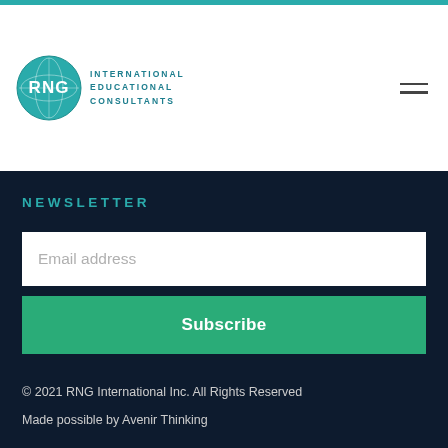[Figure (logo): RNG International Educational Consultants logo with circular globe icon and text]
NEWSLETTER
Email address
Subscribe
© 2021 RNG International Inc. All Rights Reserved
Made possible by Avenir Thinking